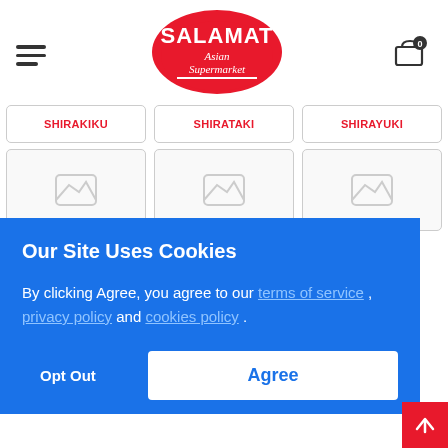[Figure (logo): Salamat Asian Supermarket logo - red arch with white text on top, cursive Asian Supermarket text below]
SHIRAKIKU
SHIRATAKI
SHIRAYUKI
Our Site Uses Cookies
By clicking Agree, you agree to our terms of service , privacy policy and cookies policy .
Opt Out
Agree